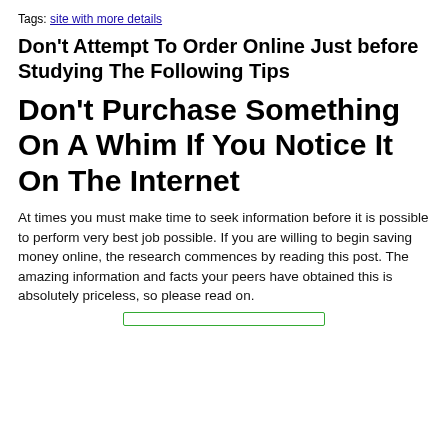Tags: site with more details
Don't Attempt To Order Online Just before Studying The Following Tips
Don't Purchase Something On A Whim If You Notice It On The Internet
At times you must make time to seek information before it is possible to perform very best job possible. If you are willing to begin saving money online, the research commences by reading this post. The amazing information and facts your peers have obtained this is absolutely priceless, so please read on.